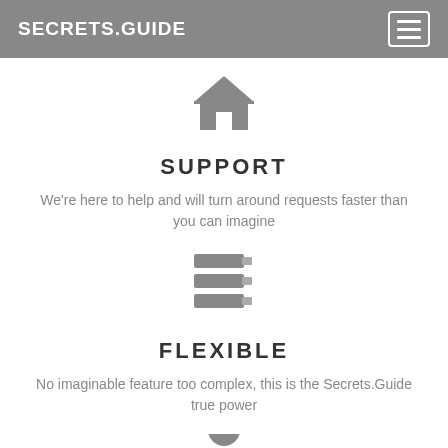SECRETS.GUIDE
[Figure (illustration): Home/house icon in gray]
SUPPORT
We're here to help and will turn around requests faster than you can imagine
[Figure (illustration): Server/database stack icon in gray]
FLEXIBLE
No imaginable feature too complex, this is the Secrets.Guide true power
[Figure (illustration): Person/user icon in gray, partially visible at bottom]